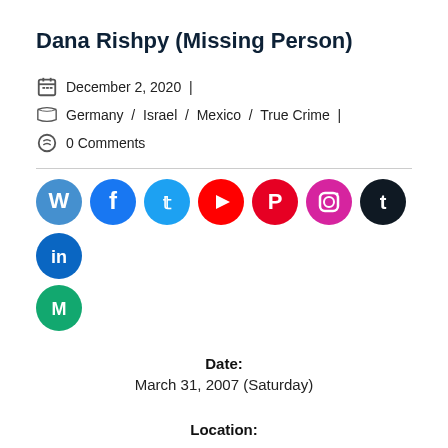Dana Rishpy (Missing Person)
December 2, 2020  |
Germany  /  Israel  /  Mexico  /  True Crime  |
0 Comments
[Figure (infographic): Row of social media icons: WordPress, Facebook, Twitter, YouTube, Pinterest, Instagram, Tumblr, LinkedIn, and Medium]
Date:
March 31, 2007 (Saturday)
Location: